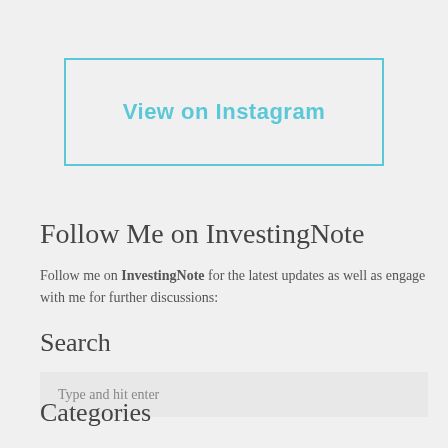[Figure (other): Button with cyan border labeled 'View on Instagram']
Follow Me on InvestingNote
Follow me on InvestingNote for the latest updates as well as engage with me for further discussions:
Search
Type and hit enter
Categories